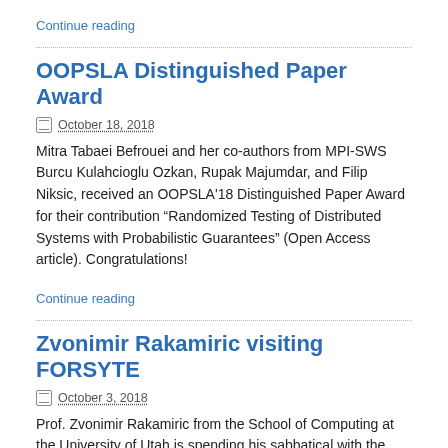Continue reading
OOPSLA Distinguished Paper Award
October 18, 2018
Mitra Tabaei Befrouei and her co-authors from MPI-SWS Burcu Kulahcioglu Ozkan, Rupak Majumdar, and Filip Niksic, received an OOPSLA'18 Distinguished Paper Award for their contribution “Randomized Testing of Distributed Systems with Probabilistic Guarantees” (Open Access article). Congratulations!
Continue reading
Zvonimir Rakamiric visiting FORSYTE
October 3, 2018
Prof. Zvonimir Rakamiric from the School of Computing at the University of Utah is spending his sabbatical with the FORSYTE group at TU Wien. He is generously sponsored by the Wolfgang Pauli Institute and a Pauli Fellow.